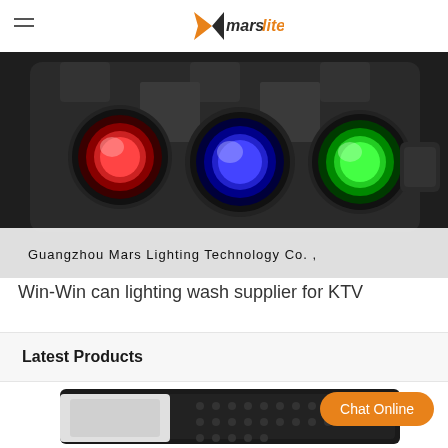marslite (logo)
[Figure (photo): Close-up photo of three stage lighting wash fixtures with red, blue, and green lenses mounted on a black frame. Text at bottom reads: Guangzhou Mars Lighting Technology Co.]
Win-Win can lighting wash supplier for KTV
Latest Products
[Figure (photo): Partial photo of a black stage lighting bar/strobe fixture seen from above, with grid of LED dots visible.]
Chat Online